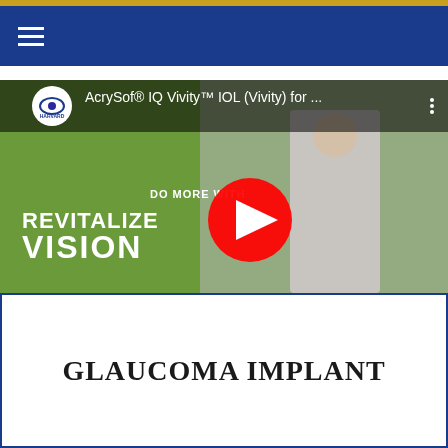Navigation header with hamburger menu
[Figure (screenshot): YouTube video thumbnail showing 'AcrySof® IQ Vivity™ IOL (Vivity) for ...' with Harvard Eye Associates logo, overlay text 'DO MORE WITH REVITALIZED VISION', red YouTube play button, woman jogging with earphones holding a phone]
GLAUCOMA IMPLANT